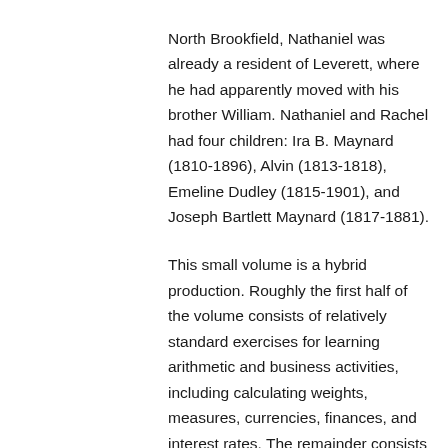North Brookfield, Nathaniel was already a resident of Leverett, where he had apparently moved with his brother William. Nathaniel and Rachel had four children: Ira B. Maynard (1810-1896), Alvin (1813-1818), Emeline Dudley (1815-1901), and Joseph Bartlett Maynard (1817-1881).
This small volume is a hybrid production. Roughly the first half of the volume consists of relatively standard exercises for learning arithmetic and business activities, including calculating weights, measures, currencies, finances, and interest rates. The remainder consists of accounts,